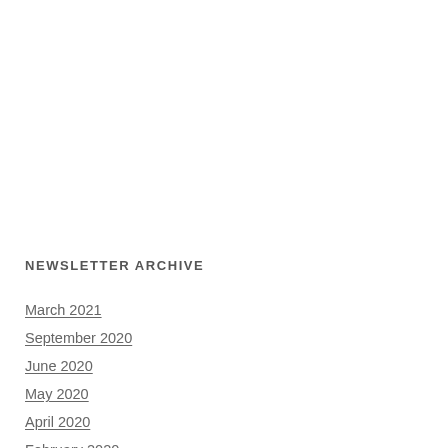NEWSLETTER ARCHIVE
March 2021
September 2020
June 2020
May 2020
April 2020
February 2020